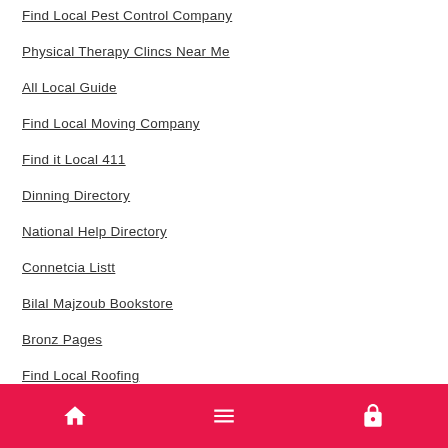Find Local Pest Control Company
Physical Therapy Clincs Near Me
All Local Guide
Find Local Moving Company
Find it Local 411
Dinning Directory
National Help Directory
Connetcia Listt
Bilal Majzoub Bookstore
Bronz Pages
Find Local Roofing
USA Local Guide
Local Knows
Local Sport Catalog
AZ Cintads Directory
Best Local Business
Home | Menu | Lock